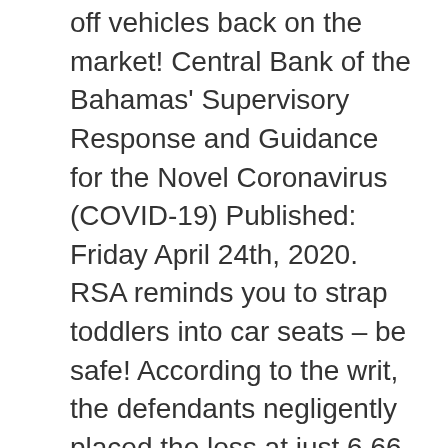off vehicles back on the market! Central Bank of the Bahamas' Supervisory Response and Guidance for the Novel Coronavirus (COVID-19) Published: Friday April 24th, 2020. RSA reminds you to strap toddlers into car seats – be safe! According to the writ, the defendants negligently placed the loss at just 6.66 percent or $12,000 (before deductible and claimed under-insurance) yielding only $6,067.46, which was offered to Ms Johnson, who has refused the offer. With the January 1st 2020 plastic ban just days away, local consumers should take note of the following tips: Come January 1, 2020 businesses will not be able to import any of the forbidden items into the country. Number pf